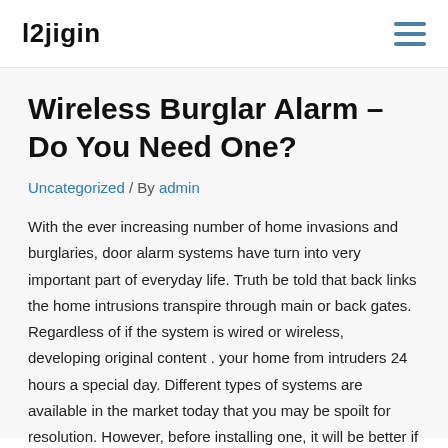l2jigin
Wireless Burglar Alarm – Do You Need One?
Uncategorized / By admin
With the ever increasing number of home invasions and burglaries, door alarm systems have turn into very important part of everyday life. Truth be told that back links the home intrusions transpire through main or back gates. Regardless of if the system is wired or wireless, developing original content . your home from intruders 24 hours a special day. Different types of systems are available in the market today that you may be spoilt for resolution. However, before installing one, it will be better if you know the benefits of door alarm systems and the actual way it can keep your family and business